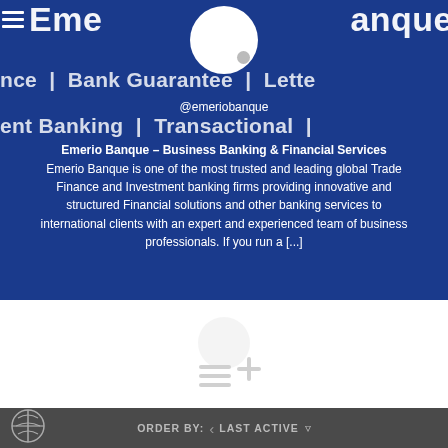[Figure (screenshot): Emerio Banque social media profile screenshot with dark blue background, logo, avatar circle, scrolling banner text showing 'Finance | Bank Guarantee | Letter' and 'ent Banking | Transactional |', @emeriobanque handle, title and description text overlay]
Emerio Banque – Business Banking & Financial Services
Emerio Banque is one of the most trusted and leading global Trade Finance and Investment banking firms providing innovative and structured Financial solutions and other banking services to international clients with an expert and experienced team of business professionals. If you run a [...]
[Figure (logo): Add/create icon with hamburger lines and plus sign, grayed out, in white section below the banner]
ORDER BY:  LAST ACTIVE